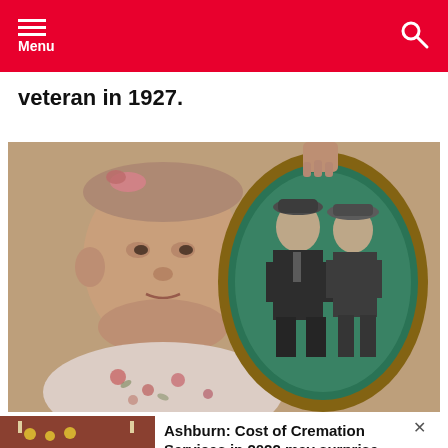Menu
veteran in 1927.
[Figure (photo): Elderly woman lying in bed holding a framed vintage portrait photograph showing a man and woman from the early 20th century]
[Figure (photo): Funeral home interior with flowers and casket (advertisement image)]
Ashburn: Cost of Cremation Services in 2022 may surprise you
Cremation Services | Search Ads | Sponsored